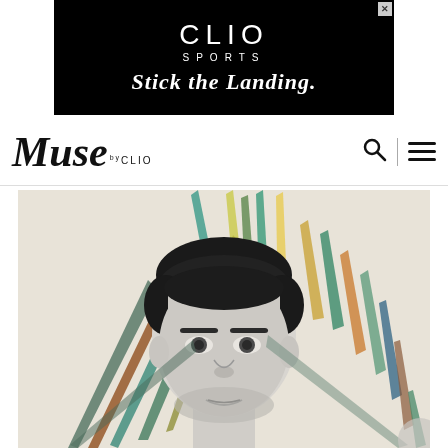[Figure (other): CLIO Sports advertisement banner with black background. Text reads 'CLIO SPORTS' and 'Stick the Landing.']
[Figure (logo): Muse by CLIO website logo in italic serif font with search and menu icons on the right]
[Figure (photo): Black and white portrait photo of a man's face with colorful tropical leaf/feather artistic elements radiating around his head against a light background]